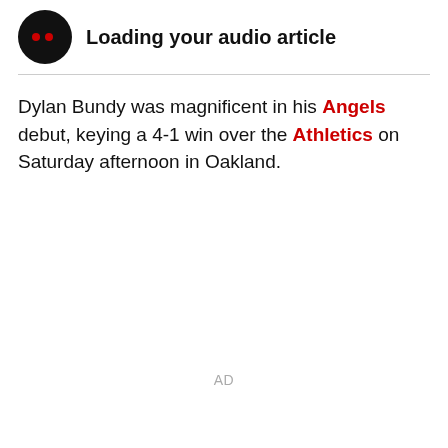[Figure (other): Black circular audio player icon with two red dots, with 'Loading your audio article' text beside it]
Dylan Bundy was magnificent in his Angels debut, keying a 4-1 win over the Athletics on Saturday afternoon in Oakland.
AD